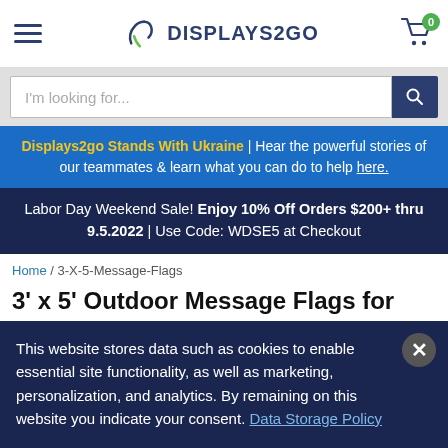Displays2go navigation header with hamburger menu, logo, and cart (0)
I'm looking for...
Displays2go Stands With Ukraine | Hear the powerful stories of our teammates & learn what you can do to help here.
Labor Day Weekend Sale! Enjoy 10% Off Orders $200+ thru 9.5.2022 | Use Code: WDSE5 at Checkout
Home / 3-X-5-Message-Flags
3' x 5' Outdoor Message Flags for Impactful Storefront Advertising
This website stores data such as cookies to enable essential site functionality, as well as marketing, personalization, and analytics. By remaining on this website you indicate your consent. Data Storage Policy